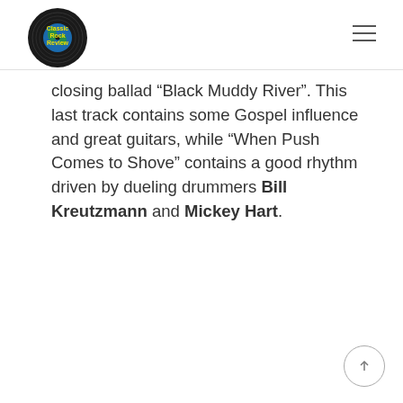Classic Rock Review
closing ballad “Black Muddy River”. This last track contains some Gospel influence and great guitars, while “When Push Comes to Shove” contains a good rhythm driven by dueling drummers Bill Kreutzmann and Mickey Hart.